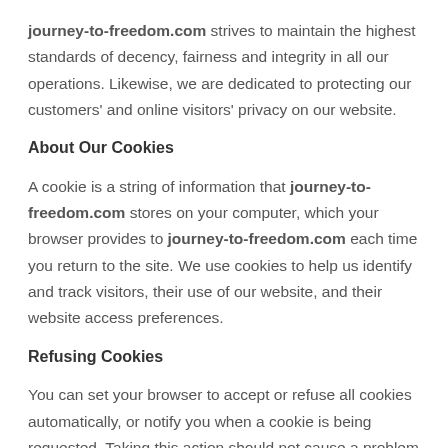journey-to-freedom.com strives to maintain the highest standards of decency, fairness and integrity in all our operations. Likewise, we are dedicated to protecting our customers' and online visitors' privacy on our website.
About Our Cookies
A cookie is a string of information that journey-to-freedom.com stores on your computer, which your browser provides to journey-to-freedom.com each time you return to the site. We use cookies to help us identify and track visitors, their use of our website, and their website access preferences.
Refusing Cookies
You can set your browser to accept or refuse all cookies automatically, or notify you when a cookie is being requested. Taking this action should not cause a problem with the continued